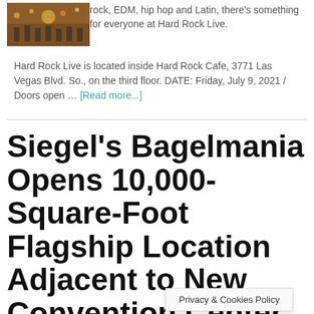[Figure (photo): Thumbnail photo of Hard Rock Live interior with warm stage lighting]
rock, EDM, hip hop and Latin, there's something for everyone at Hard Rock Live. Hard Rock Live is located inside Hard Rock Cafe, 3771 Las Vegas Blvd. So., on the third floor. DATE: Friday, July 9, 2021 / Doors open … [Read more...]
Siegel's Bagelmania Opens 10,000-Square-Foot Flagship Location Adjacent to New Convention Center Expansion